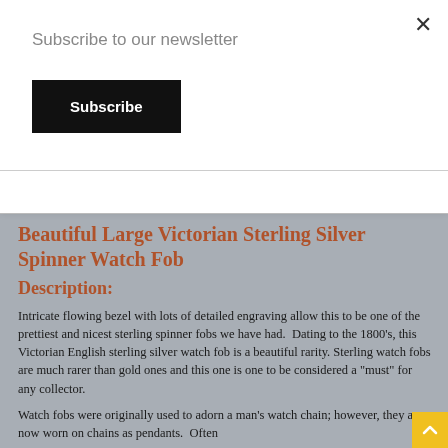Subscribe to our newsletter
Subscribe
Beautiful Large Victorian Sterling Silver Spinner Watch Fob
Description:
Intricate flowing bezel with lots of detailed engraving allow this to be one of the prettiest and nicest sterling spinner fobs we have had.  Dating to the 1800's, this Victorian English sterling silver watch fob is a beautiful rarity. Sterling watch fobs are much rarer than gold ones and this one is one to be considered a "must" for any collector.
Watch fobs were originally used to adorn a man's watch chain; however, they are now worn on chains as pendants.  Often